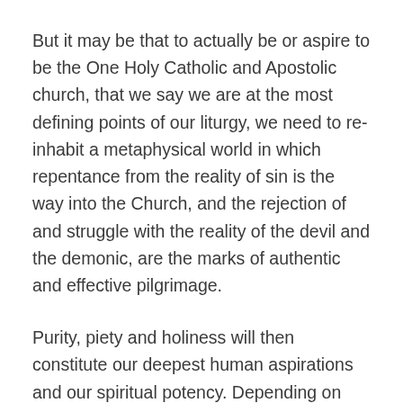But it may be that to actually be or aspire to be the One Holy Catholic and Apostolic church, that we say we are at the most defining points of our liturgy, we need to re-inhabit a metaphysical world in which repentance from the reality of sin is the way into the Church, and the rejection of and struggle with the reality of the devil and the demonic, are the marks of authentic and effective pilgrimage.
Purity, piety and holiness will then constitute our deepest human aspirations and our spiritual potency. Depending on how you analyse our social dis-eases, this may turn out to be just as socially relevant to the